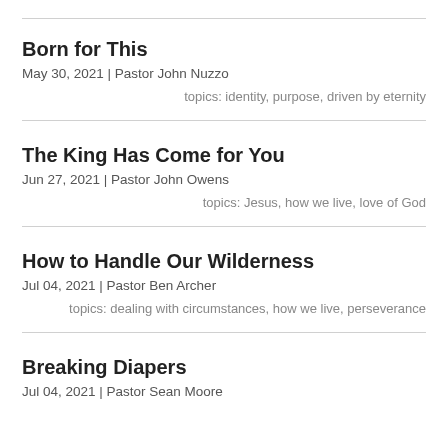Born for This
May 30, 2021 | Pastor John Nuzzo
topics: identity, purpose, driven by eternity
The King Has Come for You
Jun 27, 2021 | Pastor John Owens
topics: Jesus, how we live, love of God
How to Handle Our Wilderness
Jul 04, 2021 | Pastor Ben Archer
topics: dealing with circumstances, how we live, perseverance
Breaking Diapers
Jul 04, 2021 | Pastor Sean Moore